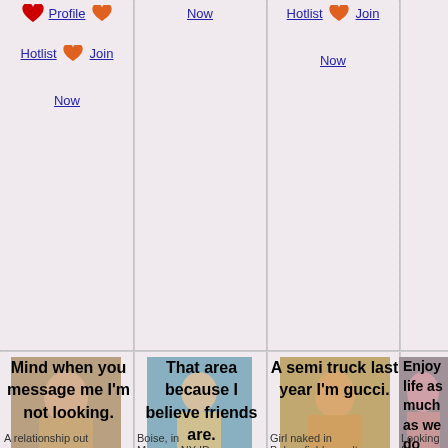Profile  Hotlist  Join  Now
Now
Hotlist  Join  Now
[Figure (photo): Person photo]
Mind when you message me I'm not looking.
[Figure (photo): Person at beach photo]
That area because I believe friends are.
[Figure (photo): Person photo]
A semi truck last year I'm gucci.
[Figure (photo): Person photo]
Enjoy life as much as we do experienced.
A relationship out
Boise, in
Monsey, NY ID
Girl naked in
Bakersfield, aren't
Looking for
companionship in